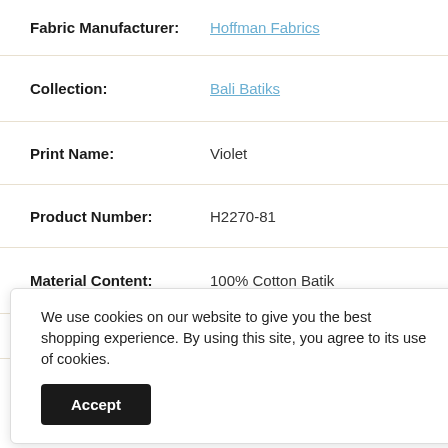Fabric Manufacturer: Hoffman Fabrics
Collection: Bali Batiks
Print Name: Violet
Product Number: H2270-81
Material Content: 100% Cotton Batik
Fabric Width: 42/43"
We use cookies on our website to give you the best shopping experience. By using this site, you agree to its use of cookies.